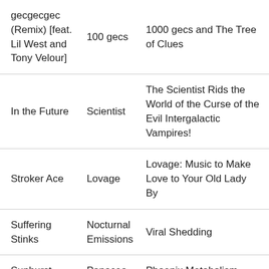| gecgecgec (Remix) [feat. Lil West and Tony Velour] | 100 gecs | 1000 gecs and The Tree of Clues |
| In the Future | Scientist | The Scientist Rids the World of the Curse of the Evil Intergalactic Vampires! |
| Stroker Ace | Lovage | Lovage: Music to Make Love to Your Old Lady By |
| Suffering Stinks | Nocturnal Emissions | Viral Shedding |
| Sunburst | Panacea | Phoenix Metabolism |